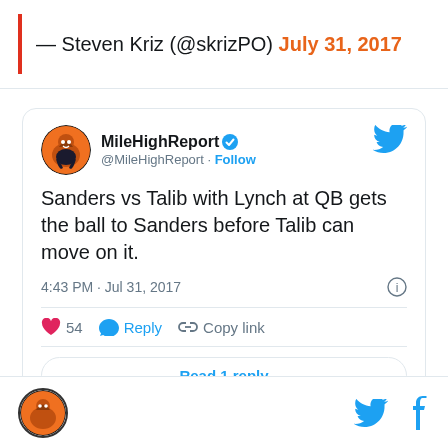— Steven Kriz (@skrizPO) July 31, 2017
[Figure (screenshot): Embedded tweet from @MileHighReport saying 'Sanders vs Talib with Lynch at QB gets the ball to Sanders before Talib can move on it.' posted at 4:43 PM · Jul 31, 2017 with 54 likes, Reply, Copy link, and Read 1 reply button]
MileHighReport logo and Twitter/Facebook icons